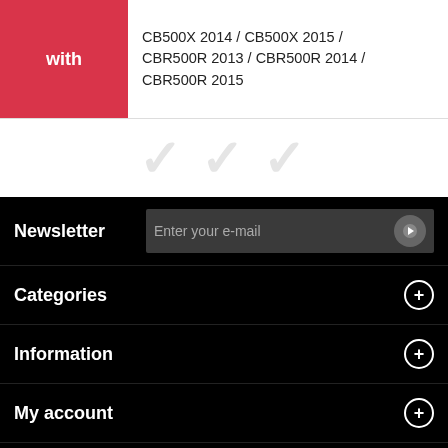with
CB500X 2014 / CB500X 2015 / CBR500R 2013 / CBR500R 2014 / CBR500R 2015
Newsletter
Enter your e-mail
Categories
Information
My account
Store Information
[Figure (logo): Payment method logos: PayPal, Visa, Mastercard, American Express]